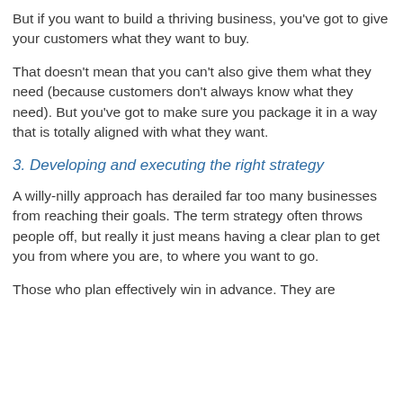But if you want to build a thriving business, you've got to give your customers what they want to buy.
That doesn't mean that you can't also give them what they need (because customers don't always know what they need). But you've got to make sure you package it in a way that is totally aligned with what they want.
3. Developing and executing the right strategy
A willy-nilly approach has derailed far too many businesses from reaching their goals. The term strategy often throws people off, but really it just means having a clear plan to get you from where you are, to where you want to go.
Those who plan effectively win in advance. They are